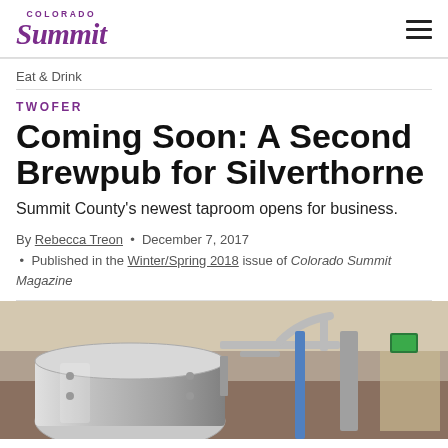Colorado Summit Magazine logo and navigation menu
Eat & Drink
TWOFER
Coming Soon: A Second Brewpub for Silverthorne
Summit County's newest taproom opens for business.
By Rebecca Treon • December 7, 2017 • Published in the Winter/Spring 2018 issue of Colorado Summit Magazine
[Figure (photo): Interior photo of a brewery showing large stainless steel fermentation tanks with pipes and equipment]